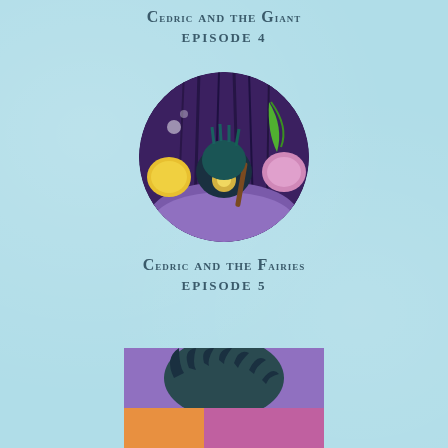Cedric and the Giant
EPISODE 4
[Figure (illustration): A circular illustration showing a fantasy scene with a creature or hedgehog-like figure glowing in a dark purple forest, surrounded by yellow, pink, and green magical elements]
Cedric and the Fairies
EPISODE 5
[Figure (illustration): Bottom partial illustration showing the top of a character or creature with dark spiky features against a colorful background, partially cropped at the page bottom]